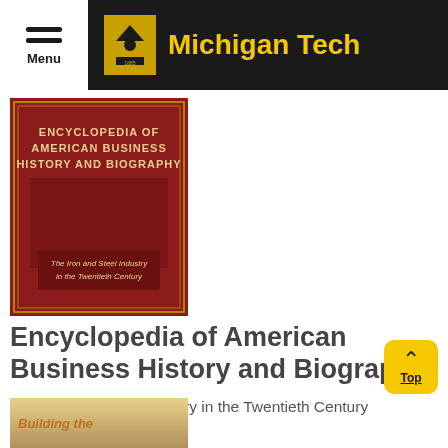Menu | Michigan Tech
[Figure (photo): Book cover of Encyclopedia of American Business History and Biography: The Iron and Steel Industry in the Twentieth Century, red cover with gold text]
Encyclopedia of American Business History and Biography
The Iron and Steel Industry in the Twentieth Century
Bruce E. Seely, Editor
Facts on File, 1993
[Figure (photo): Partial book cover showing 'Building the...' with landscape image]